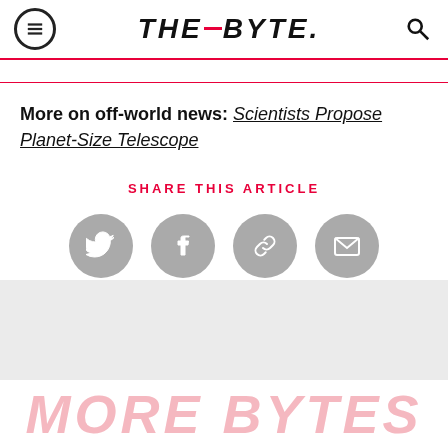THE_BYTE.
More on off-world news: Scientists Propose Planet-Size Telescope
SHARE THIS ARTICLE
[Figure (infographic): Four gray circular social share buttons: Twitter, Facebook, link/copy, and email icons]
MORE BYTES